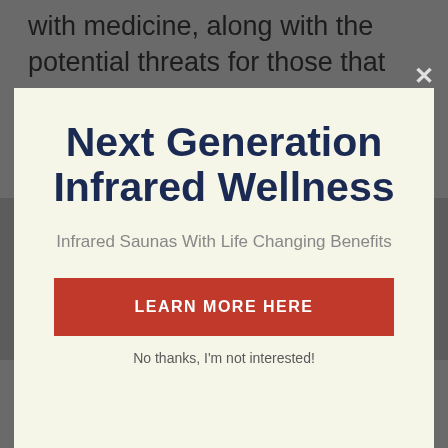with medicine, along with the potential threats for those that are expecting, have heart problem, or are intoxicated of medicines or alcohol, among
Next Generation Infrared Wellness
Infrared Saunas With Life Changing Benefits
LEARN MORE HERE
No thanks, I'm not interested!
Exactly how do you use the infrared sauna?